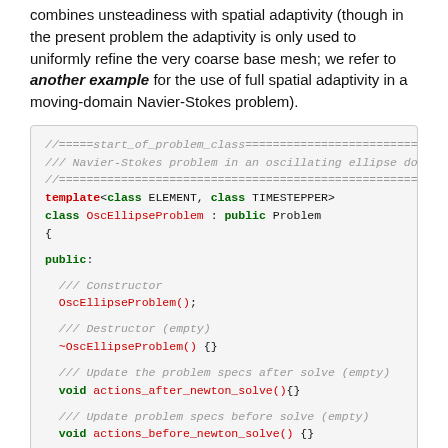combines unsteadiness with spatial adaptivity (though in the present problem the adaptivity is only used to uniformly refine the very coarse base mesh; we refer to another example for the use of full spatial adaptivity in a moving-domain Navier-Stokes problem).
[Figure (screenshot): C++ source code block showing the OscEllipseProblem class definition with template parameters, constructor, destructor, and action methods.]